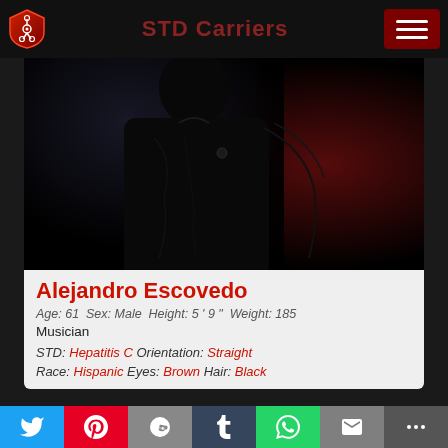STD Carriers
[Figure (photo): Dark silhouette photo of a person, mostly in shadow with a red background visible on the right side. The figure is wearing dark clothing.]
Alejandro Escovedo
Age: 61  Sex: Male  Height: 5 ' 9 "  Weight: 185
Musician
STD: Hepatitis C  Orientation: Straight
Race: Hispanic  Eyes: Brown  Hair: Black